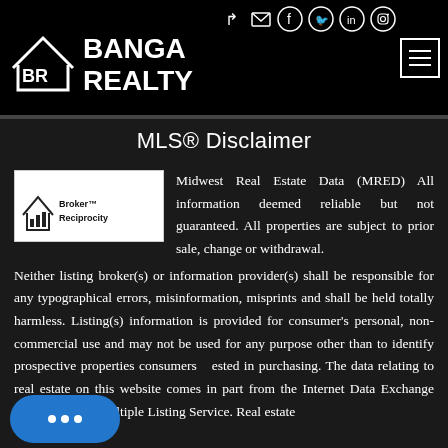[Figure (logo): Banga Realty logo with house icon and BR monogram on black background header bar, with social media icons and hamburger menu]
MLS® Disclaimer
[Figure (logo): Broker Reciprocity logo — house icon with bar chart and text 'Broker Reciprocity']
Midwest Real Estate Data (MRED) All information deemed reliable but not guaranteed. All properties are subject to prior sale, change or withdrawal. Neither listing broker(s) or information provider(s) shall be responsible for any typographical errors, misinformation, misprints and shall be held totally harmless. Listing(s) information is provided for consumer's personal, non-commercial use and may not be used for any purpose other than to identify prospective properties consumers interested in purchasing. The data relating to real estate on this website comes in part from the Internet Data Exchange program of the Multiple Listing Service. Real estate